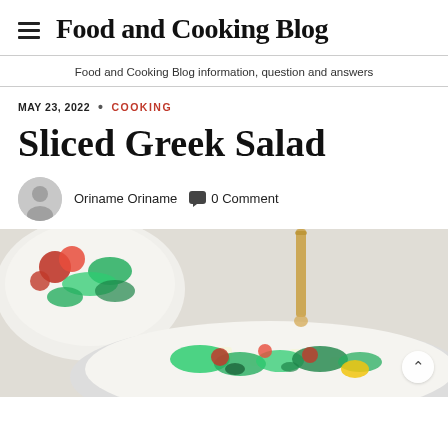Food and Cooking Blog
Food and Cooking Blog information, question and answers
MAY 23, 2022  •  COOKING
Sliced Greek Salad
Oriname Oriname   0 Comment
[Figure (photo): A bowl of Greek salad with fresh lettuce, tomatoes, feta cheese and dressing being poured from above, on a white background. A second bowl of salad is partially visible in the upper left corner.]